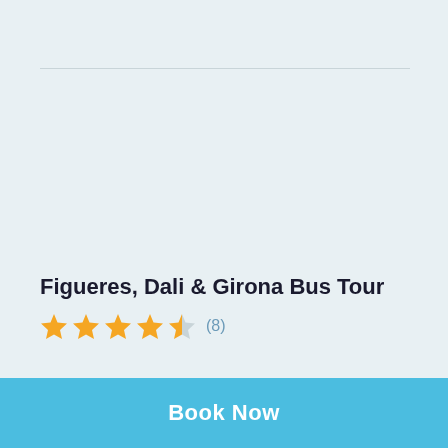[Figure (other): Large light blue-gray placeholder image area with a horizontal divider line near the top]
Figueres, Dali & Girona Bus Tour
★★★★☆ (8)
Book Now